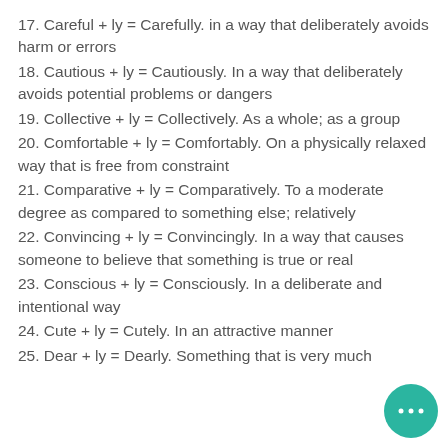17. Careful + ly = Carefully. in a way that deliberately avoids harm or errors
18. Cautious + ly = Cautiously. In a way that deliberately avoids potential problems or dangers
19. Collective + ly = Collectively. As a whole; as a group
20. Comfortable + ly = Comfortably. On a physically relaxed way that is free from constraint
21. Comparative + ly = Comparatively. To a moderate degree as compared to something else; relatively
22. Convincing + ly = Convincingly. In a way that causes someone to believe that something is true or real
23. Conscious + ly = Consciously. In a deliberate and intentional way
24. Cute + ly = Cutely. In an attractive manner
25. Dear + ly = Dearly. Something that is very much